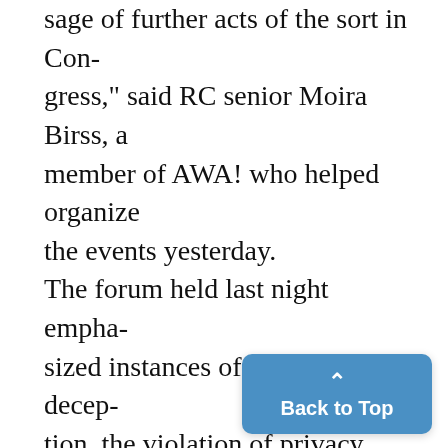sage of further acts of the sort in Congress," said RC senior Moira Birss, a member of AWA! who helped organize the events yesterday. The forum held last night emphasized instances of government deception, the violation of privacy legalized by the Patriot Act and the lack of funding towards education, allegedly resulting from an unhealthy economy and the re-allocation of funds to the war effort. Steve MacGuidwin, president of College Republicans offered an